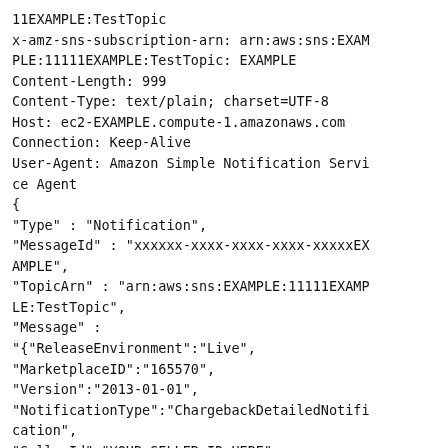11EXAMPLE:TestTopic
x-amz-sns-subscription-arn: arn:aws:sns:EXAMPLE:11111EXAMPLE:TestTopic: EXAMPLE
Content-Length: 999
Content-Type: text/plain; charset=UTF-8
Host: ec2-EXAMPLE.compute-1.amazonaws.com
Connection: Keep-Alive
User-Agent: Amazon Simple Notification Service Agent
{
"Type" : "Notification",
"MessageId" : "xxxxxx-xxxx-xxxx-xxxx-xxxxxEXAMPLE",
"TopicArn" : "arn:aws:sns:EXAMPLE:11111EXAMPLE:TestTopic",
"Message" :
"{"ReleaseEnvironment":"Live",
"MarketplaceID":"165570",
"Version":"2013-01-01",
"NotificationType":"ChargebackDetailedNotification",
"SellerId":"YOUR_SELLER_ID_HERE",
"NotificationReferenceId":"75d52458-a3a9-4ec